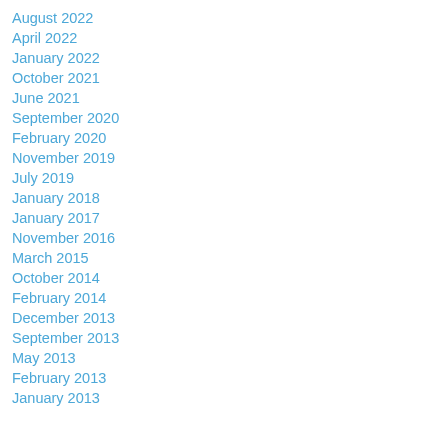August 2022
April 2022
January 2022
October 2021
June 2021
September 2020
February 2020
November 2019
July 2019
January 2018
January 2017
November 2016
March 2015
October 2014
February 2014
December 2013
September 2013
May 2013
February 2013
January 2013